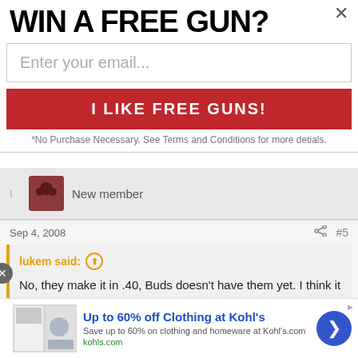WIN A FREE GUN?
Enter your email...
I LIKE FREE GUNS!
*No Purchase Necessary. See Terms and Conditions for more detials.
New member
Sep 4, 2008  #5
lukem said:
No, they make it in .40, Buds doesn't have them yet. I think it looks pretty sweet. It would look even better between my 90-TWO and my Tomcat. :tongue:
Up to 60% off Clothing at Kohl's
Save up to 60% on clothing and homeware at Kohl's.com
kohls.com